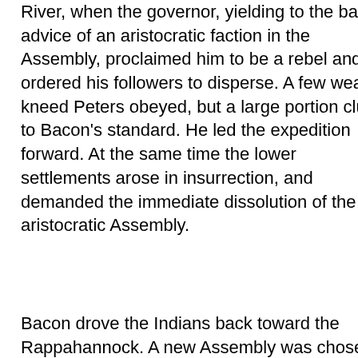River, when the governor, yielding to the bad advice of an aristocratic faction in the Assembly, proclaimed him to be a rebel and ordered his followers to disperse. A few weak-kneed Peters obeyed, but a large portion clung to Bacon's standard. He led the expedition forward. At the same time the lower settlements arose in insurrection, and demanded the immediate dissolution of the aristocratic Assembly.
Bacon drove the Indians back toward the Rappahannock. A new Assembly was chosen, and he was elected to a seat in the House of Burgesses, from Henrico county.